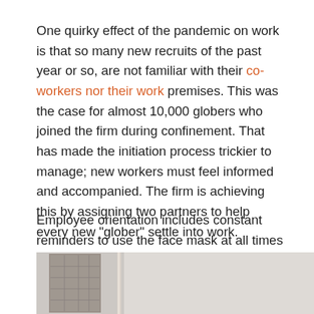One quirky effect of the pandemic on work is that so many new recruits of the past year or so, are not familiar with their co-workers nor their work premises. This was the case for almost 10,000 globers who joined the firm during confinement. That has made the initiation process trickier to manage; new workers must feel informed and accompanied. The firm is achieving this by assigning two partners to help every new "glober" settle into work.
Employee orientation includes constant reminders to use the face mask at all times (except when alone at your desk), and that ties are no longer necessary, as meetings with superiors would only happen on Zoom.
[Figure (photo): Partial indoor photo showing a decorative tile panel or artwork on the left and a vertical rod or post element, with a plain light-colored wall to the right.]